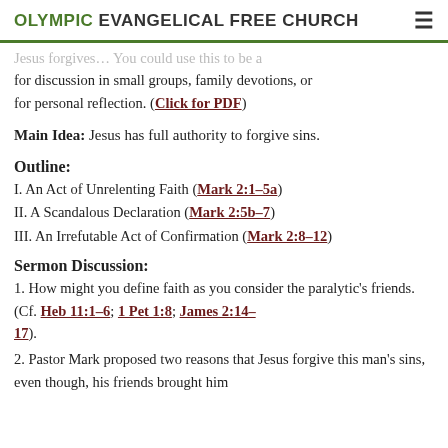OLYMPIC EVANGELICAL FREE CHURCH
for discussion in small groups, family devotions, or for personal reflection. (Click for PDF)
Main Idea: Jesus has full authority to forgive sins.
Outline:
I. An Act of Unrelenting Faith (Mark 2:1–5a)
II. A Scandalous Declaration (Mark 2:5b–7)
III. An Irrefutable Act of Confirmation (Mark 2:8–12)
Sermon Discussion:
1. How might you define faith as you consider the paralytic's friends. (Cf. Heb 11:1–6; 1 Pet 1:8; James 2:14–17).
2. Pastor Mark proposed two reasons that Jesus forgive this man's sins, even though, his friends brought him